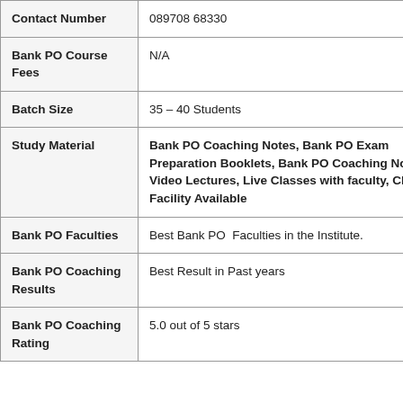| Field | Value |
| --- | --- |
| Contact Number | 089708 68330 |
| Bank PO Course Fees | N/A |
| Batch Size | 35 – 40 Students |
| Study Material | Bank PO Coaching Notes, Bank PO Exam Preparation Booklets, Bank PO Coaching Notes, Video Lectures, Live Classes with faculty, Chat Facility Available |
| Bank PO Faculties | Best Bank PO  Faculties in the Institute. |
| Bank PO Coaching Results | Best Result in Past years |
| Bank PO Coaching Rating | 5.0 out of 5 stars |